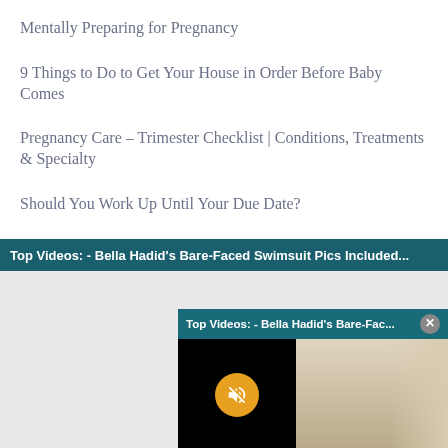Mentally Preparing for Pregnancy
9 Things to Do to Get Your House in Order Before Baby Comes
Pregnancy Care – Trimester Checklist | Conditions, Treatments & Specialty
Should You Work Up Until Your Due Date?
[Figure (screenshot): Video player bar and popup showing 'Top Videos: - Bella Hadid's Bare-Faced Swimsuit Pics Included...' with a muted video thumbnail on the right side]